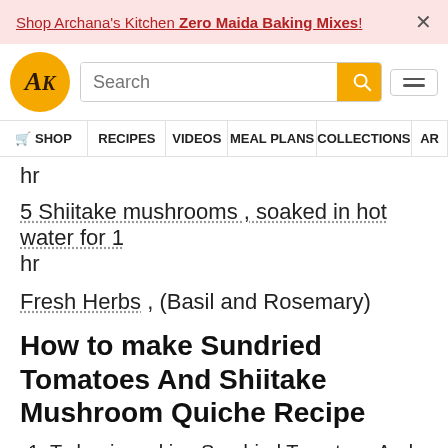Shop Archana's Kitchen Zero Maida Baking Mixes! ×
[Figure (logo): Archana's Kitchen logo - orange circle with AK text]
hr
5 Shiitake mushrooms , soaked in hot water for 1 hr
Fresh Herbs , (Basil and Rosemary)
How to make Sundried Tomatoes And Shiitake Mushroom Quiche Recipe
1. To begin making Sundried Tomatoes And Shiitake Mushroom Quiche Recipe, we will first